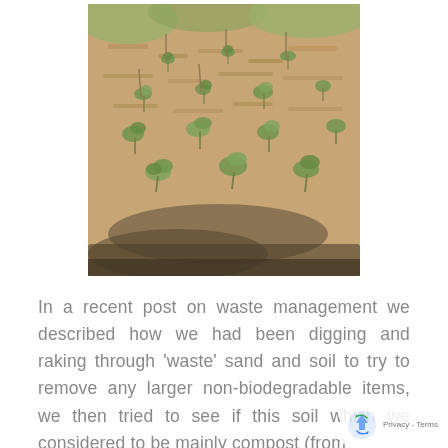[Figure (photo): A garden bed with mulch/wood chips covering the soil, with small young plants growing at regular intervals. The bed is bordered by what appears to be dark edging material. Green grass is visible at the top of the image.]
In a recent post on waste management we described how we had been digging and raking through 'waste' sand and soil to try to remove any larger non-biodegradable items, we then tried to see if this soil which we considered to be mainly compost (from